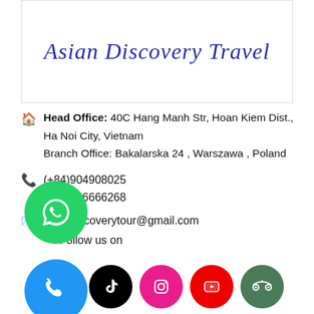Asian Discovery Travel
Head Office: 40C Hang Manh Str, Hoan Kiem Dist., Ha Noi City, Vietnam
Branch Office: Bakalarska 24 , Warszawa , Poland
(+84)904908025
(+84)666666268
asiandiscoverytour@gmail.com
Follow us on
[Figure (infographic): Social media icon buttons: Facebook (blue), TikTok (black), Instagram (pink), YouTube (red), TripAdvisor (green). Also WhatsApp floating button (green) and phone floating button (blue).]